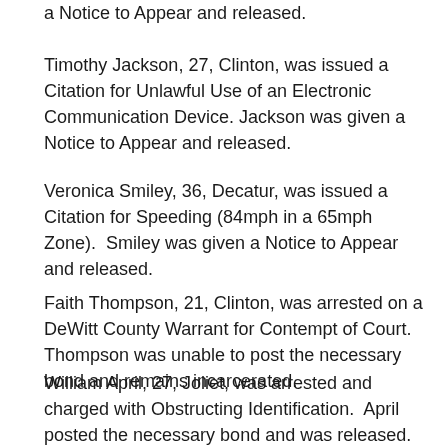a Notice to Appear and released.
Timothy Jackson, 27, Clinton, was issued a Citation for Unlawful Use of an Electronic Communication Device. Jackson was given a Notice to Appear and released.
Veronica Smiley, 36, Decatur, was issued a Citation for Speeding (84mph in a 65mph Zone).  Smiley was given a Notice to Appear and released.
Faith Thompson, 21, Clinton, was arrested on a DeWitt County Warrant for Contempt of Court.  Thompson was unable to post the necessary bond and remains incarcerated.
William April, 27, Joliet, was arrested and charged with Obstructing Identification.  April posted the necessary bond and was released.